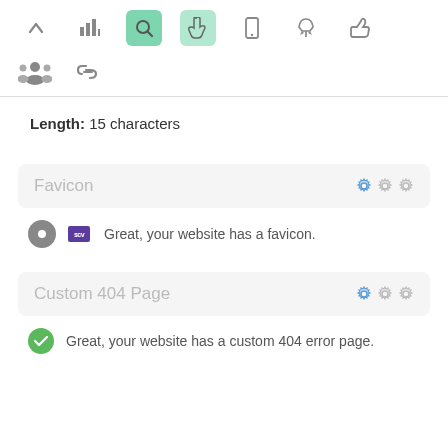[Figure (screenshot): Toolbar with navigation icons including up arrow, bar chart, search (active dark green), pointer/hand (active light green), mobile, rocket, and thumbs up icons]
[Figure (screenshot): Second toolbar row with people group icon and chain link icon]
Length: 15 characters
Favicon
Great, your website has a favicon.
Custom 404 Page
Great, your website has a custom 404 error page.